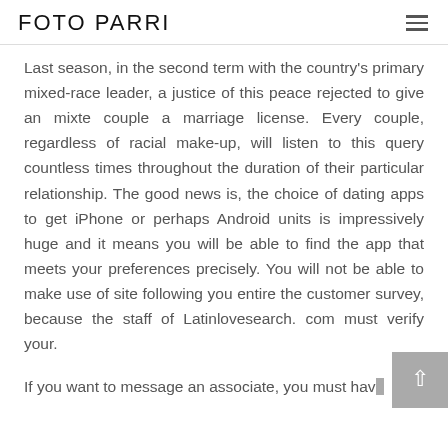FOTO PARRI
Last season, in the second term with the country's primary mixed-race leader, a justice of this peace rejected to give an mixte couple a marriage license. Every couple, regardless of racial make-up, will listen to this query countless times throughout the duration of their particular relationship. The good news is, the choice of dating apps to get iPhone or perhaps Android units is impressively huge and it means you will be able to find the app that meets your preferences precisely. You will not be able to make use of site following you entire the customer survey, because the staff of Latinlovesearch. com must verify your.
If you want to message an associate, you must have